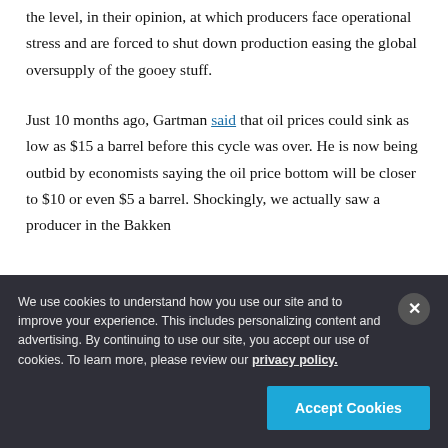the level, in their opinion, at which producers face operational stress and are forced to shut down production easing the global oversupply of the gooey stuff.
Just 10 months ago, Gartman said that oil prices could sink as low as $15 a barrel before this cycle was over. He is now being outbid by economists saying the oil price bottom will be closer to $10 or even $5 a barrel. Shockingly, we actually saw a producer in the Bakken
We use cookies to understand how you use our site and to improve your experience. This includes personalizing content and advertising. By continuing to use our site, you accept our use of cookies. To learn more, please review our privacy policy.